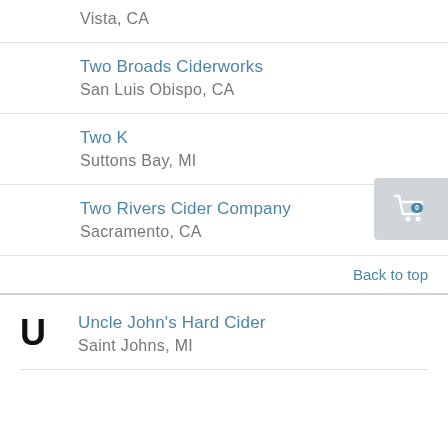Vista, CA
Two Broads Ciderworks
San Luis Obispo, CA
Two K
Suttons Bay, MI
Two Rivers Cider Company
Sacramento, CA
Back to top
U
Uncle John's Hard Cider
Saint Johns, MI